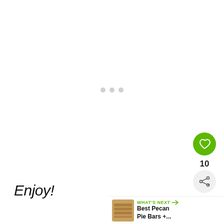[Figure (other): Loading indicator: three small grey dots centered on a white background]
Enjoy!
[Figure (other): Green circular like/heart button with heart icon, showing count 10 below it, and a grey share button below that]
[Figure (other): WHAT'S NEXT banner in bottom right corner with thumbnail image of pecan pie bars and text 'Best Pecan Pie Bars +...']